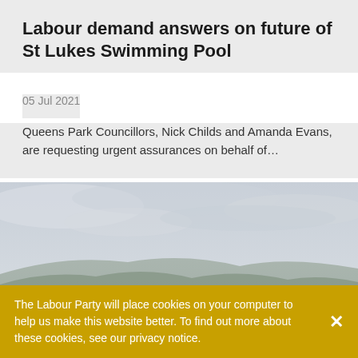Labour demand answers on future of St Lukes Swimming Pool
05 Jul 2021
Queens Park Councillors, Nick Childs and Amanda Evans, are requesting urgent assurances on behalf of…
[Figure (photo): Aerial/elevated view of a town with rows of houses and buildings under a grey overcast sky, hills visible in the background.]
The Labour Party will place cookies on your computer to help us make this website better. To find out more about these cookies, see our privacy notice.